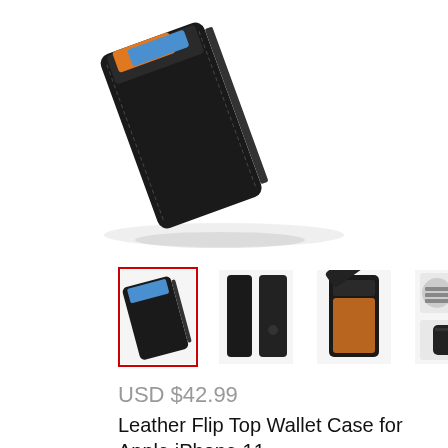[Figure (photo): Large main product image of a black leather flip top wallet case for iPhone 11, shown at an angle, partially open, with a blue/orange card visible inside.]
[Figure (photo): Thumbnail row showing four images of the black leather flip top wallet case from different angles: closed angled view (selected with red border), front and back view, open front view, and detail/side views.]
USD $42.99
Leather Flip Top Wallet Case for Apple iPhone 11